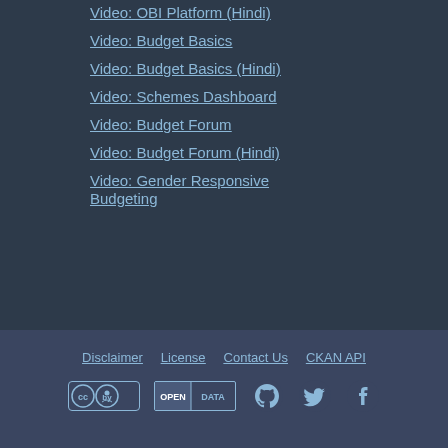Video: OBI Platform (Hindi)
Video: Budget Basics
Video: Budget Basics (Hindi)
Video: Schemes Dashboard
Video: Budget Forum
Video: Budget Forum (Hindi)
Video: Gender Responsive Budgeting
Disclaimer  License  Contact Us  CKAN API
[Figure (logo): Creative Commons BY license badge, Open Data badge, GitHub icon, Twitter icon, Facebook icon]